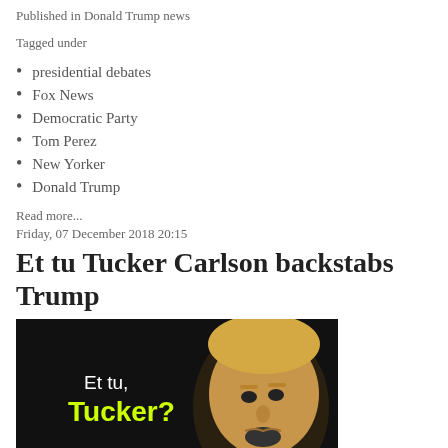Published in Donald Trump news
Tagged under
presidential debates
Fox News
Democratic Party
Tom Perez
New Yorker
Donald Trump
Read more...
Friday, 07 December 2018 20:15
Et tu Tucker Carlson backstabs Trump
[Figure (photo): Dark background image with text 'Et tu, Tucker?' in white and yellow-green, alongside a silhouette/photo of Donald Trump's face]